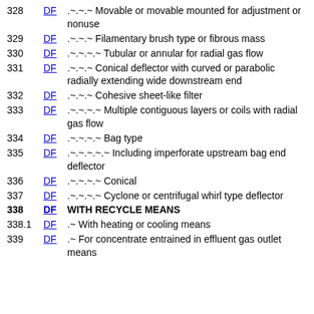328 DF .~.~.~ Movable or movable mounted for adjustment or nonuse
329 DF .~.~.~ Filamentary brush type or fibrous mass
330 DF .~.~.~.~ Tubular or annular for radial gas flow
331 DF .~.~.~ Conical deflector with curved or parabolic radially extending wide downstream end
332 DF .~.~.~ Cohesive sheet-like filter
333 DF .~.~.~.~ Multiple contiguous layers or coils with radial gas flow
334 DF .~.~.~.~ Bag type
335 DF .~.~.~.~.~ Including imperforate upstream bag end deflector
336 DF .~.~.~.~ Conical
337 DF .~.~.~.~ Cyclone or centrifugal whirl type deflector
338 DF WITH RECYCLE MEANS
338.1 DF .~ With heating or cooling means
339 DF .~ For concentrate entrained in effluent gas outlet means